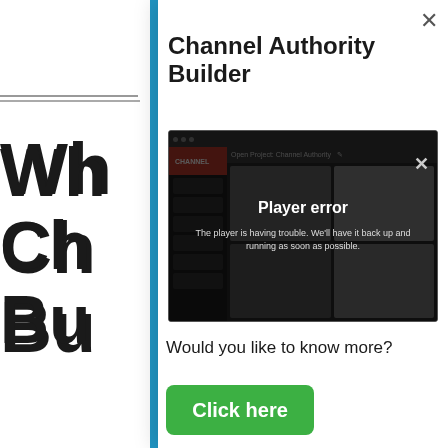[Figure (screenshot): Background webpage partially visible on left side, showing large bold heading starting with 'Wh', 'Ch', 'Bu' and body text lines starting with 'Chann', 'revolu', 'YouT', 'throw', 'traini' with a blue vertical bar and horizontal rule]
Channel Authority Builder
[Figure (screenshot): Player error screenshot showing Channel Authority Builder app interface with dark UI, red sidebar, grid panels, and player error overlay showing 'Player error' and message 'The player is having trouble. We'll have it back up and running as soon as possible.' with an X close button]
Would you like to know more?
Click here